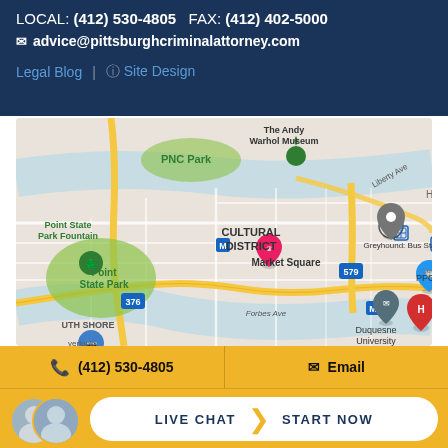LOCAL: (412) 530-4805   FAX: (412) 402-5000
advice@pittsburghcriminalattorney.com
Legal Blog  |  Site Design
[Figure (map): Google Maps view of downtown Pittsburgh showing PNC Park, The Andy Warhol Museum, Point State Park Fountain, Cultural District, Market Square, Greyhound Bus Station, PPG Paints, Duquesne University, South Shore, and major routes including 376, 579, and 380.]
(412) 530-4805   Email
LIVE CHAT  START NOW